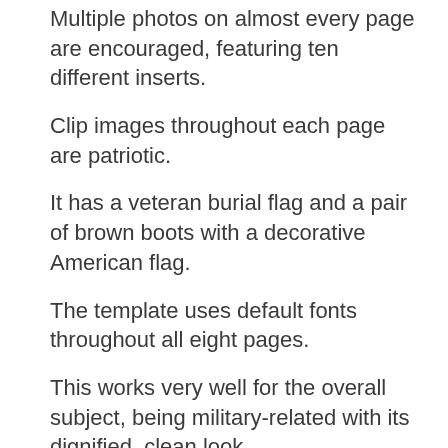Multiple photos on almost every page are encouraged, featuring ten different inserts.
Clip images throughout each page are patriotic.
It has a veteran burial flag and a pair of brown boots with a decorative American flag.
The template uses default fonts throughout all eight pages.
This works very well for the overall subject, being military-related with its dignified, clean look.
No matter your loved one’s age or sex, this funeral program is truly meant for